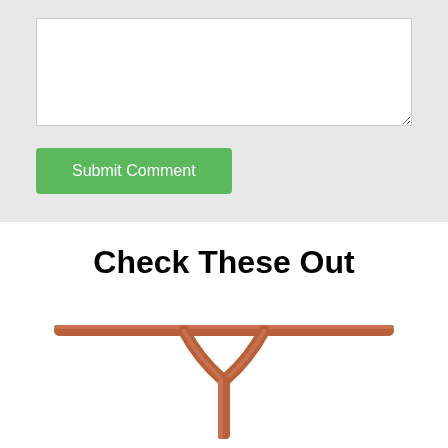[Figure (screenshot): A textarea input box with a light gray background, white interior, and a resize handle in the bottom-right corner.]
[Figure (screenshot): A green 'Submit Comment' button with white text.]
Check These Out
[Figure (photo): A copper/bronze colored T-bar handlebar for a scooter, viewed from the front, with a Y-shaped neck joining the horizontal bar to a vertical stem.]